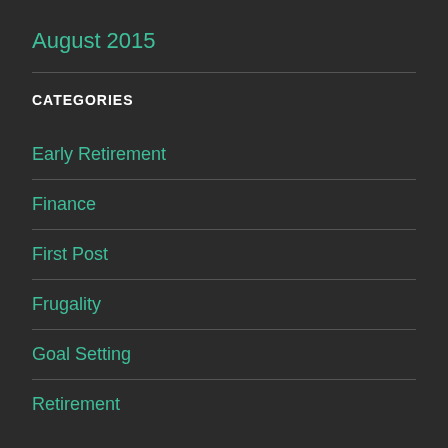August 2015
CATEGORIES
Early Retirement
Finance
First Post
Frugality
Goal Setting
Retirement